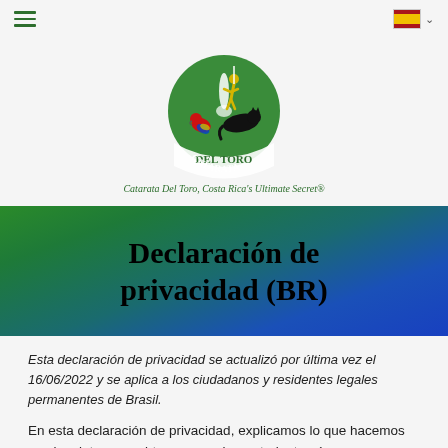☰  [Catarata Del Toro logo]  🇪🇸 ∨
[Figure (logo): Catarata Del Toro circular logo with waterfall, yellow figure, red parrot, and black panther. Text: Catarata Del Toro, Costa Rica's Ultimate Secret®]
Declaración de privacidad (BR)
Esta declaración de privacidad se actualizó por última vez el 16/06/2022 y se aplica a los ciudadanos y residentes legales permanentes de Brasil.
En esta declaración de privacidad, explicamos lo que hacemos con los datos que obtenemos sobre usted a través